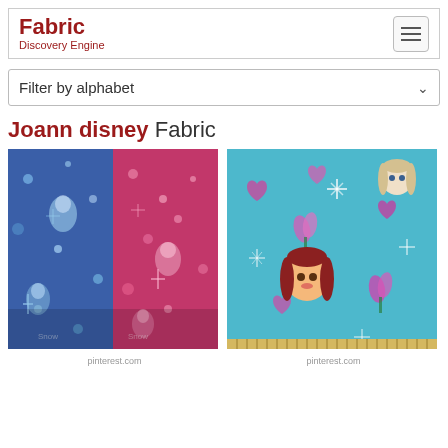Fabric Discovery Engine
Filter by alphabet
Joann disney Fabric
[Figure (photo): Disney Frozen fabric with anime-style characters (Elsa, Anna) on blue and pink/red background with snowflakes, split design]
pinterest.com
[Figure (photo): Disney Frozen fabric on teal/turquoise background with Anna and Elsa character faces, hearts, flowers and snowflake designs]
pinterest.com